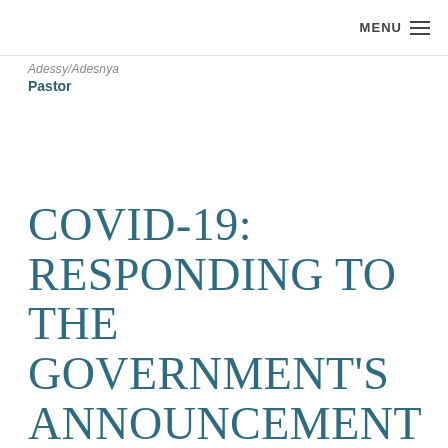MENU ≡
Adessy/Adesnya
Pastor
COVID-19: RESPONDING TO THE GOVERNMENT'S ANNOUNCEMENT